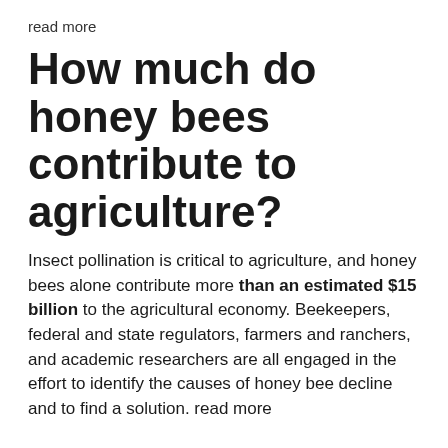read more
How much do honey bees contribute to agriculture?
Insect pollination is critical to agriculture, and honey bees alone contribute more than an estimated $15 billion to the agricultural economy. Beekeepers, federal and state regulators, farmers and ranchers, and academic researchers are all engaged in the effort to identify the causes of honey bee decline and to find a solution. read more
What is the Farm